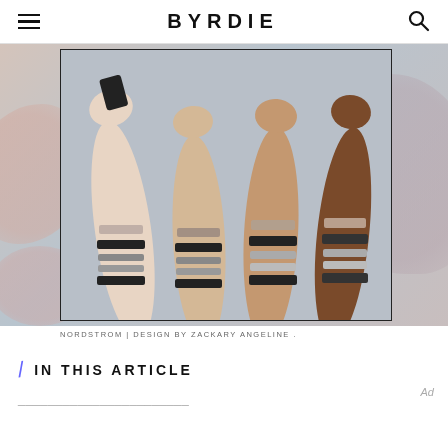BYRDIE
[Figure (photo): Four arms of different skin tones raised up with makeup swatches (eyeshadow colors including black, grey, taupe) applied in stripes on each forearm, displayed inside a thin black border frame. The background has soft pink and grey abstract blobs.]
NORDSTROM | DESIGN BY ZACKARY ANGELINE .
IN THIS ARTICLE